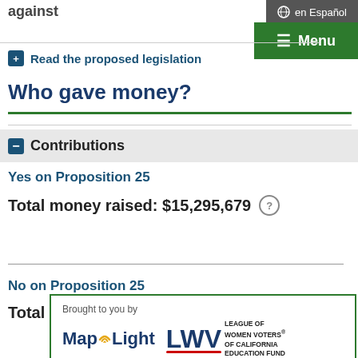against
en Español
☰ Menu
+ Read the proposed legislation
Who gave money?
— Contributions
Yes on Proposition 25
Total money raised: $15,295,679
No on Proposition 25
Total money raised: $8,345,281
Brought to you by MapLight — League of Women Voters of California Education Fund